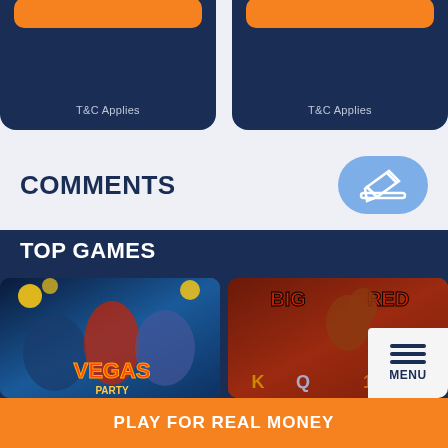T&C Applies
T&C Applies
COMMENTS
TOP GAMES
[Figure (screenshot): Vegas Party slot game thumbnail with colorful cartoon characters]
[Figure (screenshot): Big Red slot game thumbnail with kangaroo and Australian outback theme]
PLAY FOR REAL MONEY